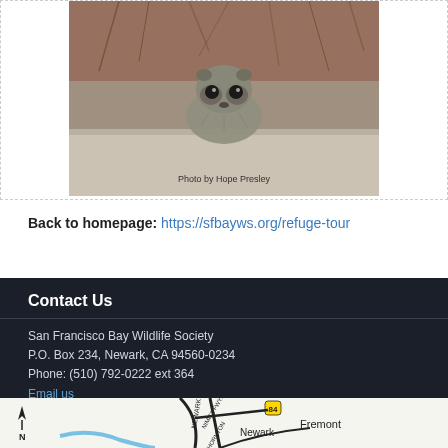[Figure (photo): Close-up photo of a small animal (appears to be a ground squirrel or similar rodent) peeking out from rocky/earthy ground. Caption reads 'Photo by Hope Presley'.]
Back to homepage: https://sfbayws.org/refuge-tour
Contact Us
San Francisco Bay Wildlife Society
P.O. Box 234, Newark, CA 94560-0234
Phone: (510) 792-0222 ext 364
Email us
[Figure (map): Partial road map showing Fremont and Newark area with roads including Nimitz Fwy, Thornton, and route 84. North arrow shown.]